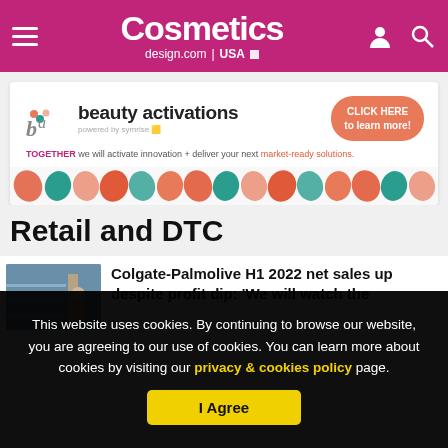Cosmetics design.com | USA
[Figure (infographic): Beauty activations advertisement banner powered by Symrise with coral click-here button, tagline about activating innovation and delivering market-ready solutions, and colorful leaf/spot pattern strip at bottom]
Retail and DTC
Colgate-Palmolive H1 2022 net sales up despite profit dip: 'We will watch the
This website uses cookies. By continuing to browse our website, you are agreeing to our use of cookies. You can learn more about cookies by visiting our privacy & cookies policy page.
I Agree